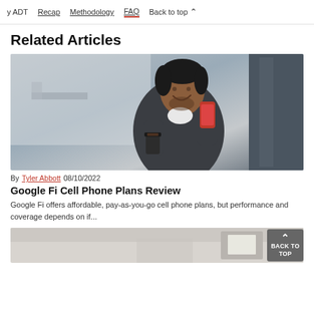y ADT   Recap   Methodology   FAQ   Back to top
Related Articles
[Figure (photo): A smiling man holding a red cell phone and a coffee cup, wearing a dark jacket, standing outdoors against a blurred background.]
By Tyler Abbott 08/10/2022
Google Fi Cell Phone Plans Review
Google Fi offers affordable, pay-as-you-go cell phone plans, but performance and coverage depends on if...
[Figure (photo): Partial view of an interior room, cropped at bottom of page.]